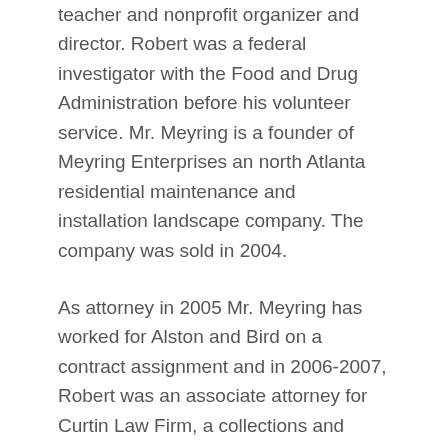teacher and nonprofit organizer and director. Robert was a federal investigator with the Food and Drug Administration before his volunteer service. Mr. Meyring is a founder of Meyring Enterprises an north Atlanta residential maintenance and installation landscape company. The company was sold in 2004.
As attorney in 2005 Mr. Meyring has worked for Alston and Bird on a contract assignment and in 2006-2007, Robert was an associate attorney for Curtin Law Firm, a collections and Trusts and Estates law firm. Mr. Meyring founded the